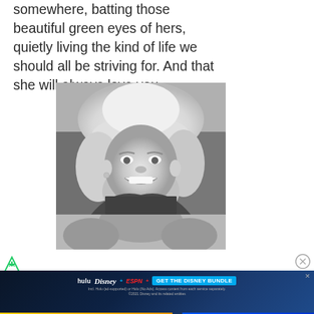somewhere, batting those beautiful green eyes of hers, quietly living the kind of life we should all be striving for. And that she will always love you.
[Figure (photo): Black and white photograph of a smiling woman wearing a cowboy hat with curly blonde hair, dressed in a checkered or textured top.]